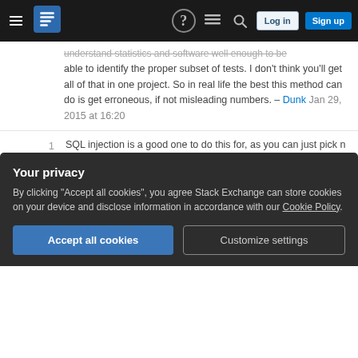Stack Exchange navigation bar with hamburger menu, logo, help, search, log in and sign up buttons
understand statistics and software well enough to be able to identify the proper subset of tests. I don't think you'll get all of that in one project. So in real life the best this method can do is get erroneous, if not misleading numbers. – Dunk Jan 29, 2015 at 16:20
1  SQL injection is a good one to do this for, as you can just pick n sql statements at random to "break" – Ian Jan 29, 2015 at 18:19
2  A big problem is that intentional bugs will tend to be very different from issues you would get naturally - you might simply be training your QA to think like the programmers. That's pretty much destroying the whole point of QA - to have a POV closer to the customer
Your privacy
By clicking "Accept all cookies", you agree Stack Exchange can store cookies on your device and disclose information in accordance with our Cookie Policy.
Accept all cookies | Customize settings